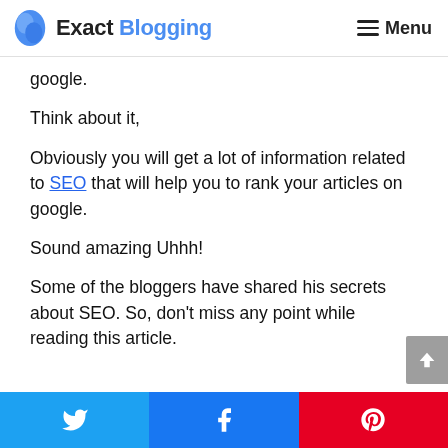Exact Blogging — Menu
google.
Think about it,
Obviously you will get a lot of information related to SEO that will help you to rank your articles on google.
Sound amazing Uhhh!
Some of the bloggers have shared his secrets about SEO. So, don't miss any point while reading this article.